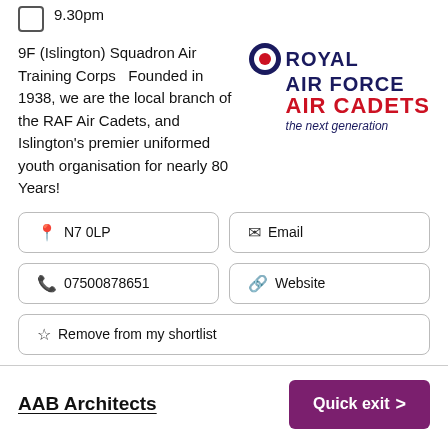9.30pm
9F (Islington) Squadron Air Training Corps   Founded in 1938, we are the local branch of the RAF Air Cadets, and Islington's premier uniformed youth organisation for nearly 80 Years!
[Figure (logo): Royal Air Force Air Cadets logo with roundel and text: ROYAL AIR FORCE AIR CADETS the next generation]
N7 0LP
Email
07500878651
Website
Remove from my shortlist
AAB Architects
Quick exit >